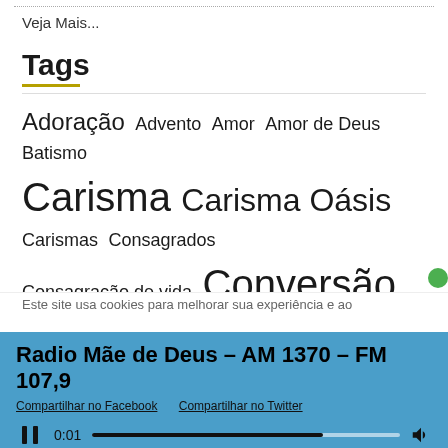Veja Mais...
Tags
Adoração Advento Amor Amor de Deus Batismo Carisma Carisma Oásis Carismas Consagrados Consagração de vida Conversão Em Espírito e Verdade Ensino Esperança Esplendor da Verdade Espírito e Verdade Espírito Santo
Este site usa cookies para melhorar sua experiência e ao
Radio Mãe de Deus – AM 1370 – FM 107,9
Compartilhar no Facebook   Compartilhar no Twitter
0:01